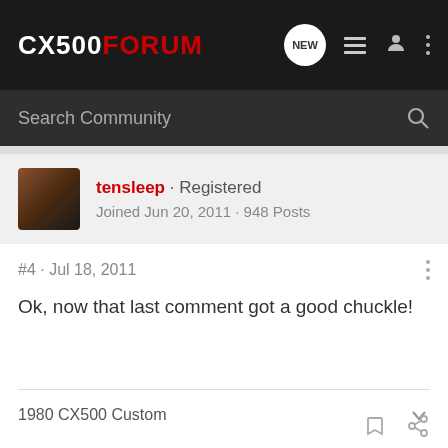CX500FORUM
Search Community
tensleep · Registered
Joined Jun 20, 2011 · 948 Posts
#4 · Jul 18, 2011
Ok, now that last comment got a good chuckle!
1980 CX500 Custom